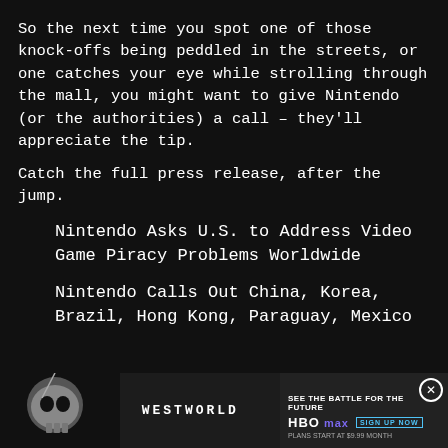So the next time you spot one of those knock-offs being peddled in the streets, or one catches your eye while strolling through the mall, you might want to give Nintendo (or the authorities) a call – they'll appreciate the tip.
Catch the full press release, after the jump.
Nintendo Asks U.S. to Address Video Game Piracy Problems Worldwide
Nintendo Calls Out China, Korea, Brazil, Hong Kong, Paraguay, Mexico
[Figure (screenshot): Advertisement banner for HBO Max Westworld series, showing skull imagery, Westworld logo text, and HBO Max sign up call to action]